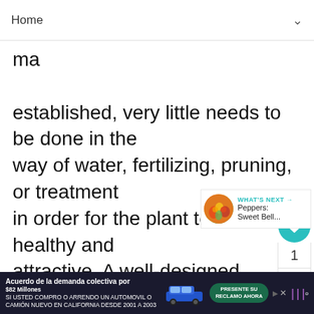Home
ma... is established, very little needs to be done in the way of water, fertilizing, pruning, or treatment in order for the plant to remain healthy and attractive. A well-designed garden, which takes your lifestyle into consideration, can greatly reduce maintenance.
Glossary : Deciduous
Deciduous refers to those plants that lose their leaves or needles at the end of the growing season.
Glossary : Evergreen
[Figure (infographic): What's Next panel showing Peppers: Sweet Bell... with flower image]
Acuerdo de la demanda colectiva por $82 Millones SI USTED COMPRO O ARRENDO UN AUTOMOVIL O CAMIÓN NUEVO EN CALIFORNIA DESDE 2001 A 2003 PRESENTE SU RECLAMO AHORA